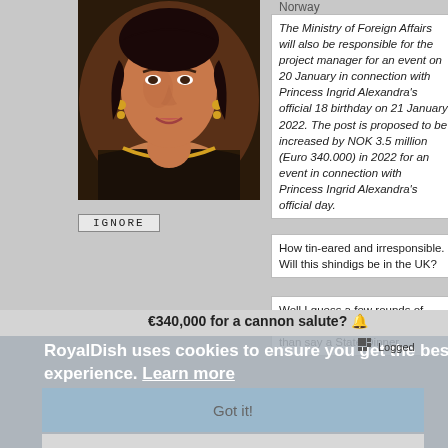[Figure (photo): Portrait photo of a woman wearing ornate jewelry and a patterned outfit]
IGNORE
Norway
The Ministry of Foreign Affairs will also be responsible for the project manager for an event on 20 January in connection with Princess Ingrid Alexandra's official 18 birthday on 21 January 2022. The post is proposed to be increased by NOK 3.5 million (Euro 340.000) in 2022 for an event in connection with Princess Ingrid Alexandra's official day.
How tin-eared and irresponsible. Will this shindigs be in the UK?
Well I guess a few rounds of ammo are less of a bling factor than say a State Dinner
€340,000 for a cannon salute? 🔔
RoyalDish uses cookies to ensure you get the best experience. Learn more
Got it!
Logged